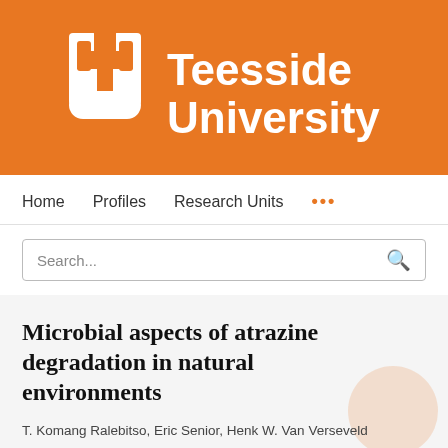[Figure (logo): Teesside University logo: white U-shaped shield icon on orange background with 'Teesside University' text in white]
Home   Profiles   Research Units   ...
Search...
Microbial aspects of atrazine degradation in natural environments
T. Komang Ralebitso, Eric Senior, Henk W. Van Verseveld